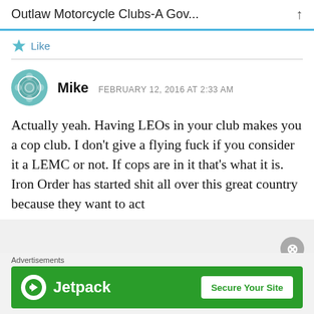Outlaw Motorcycle Clubs-A Gov...
Like
Mike   FEBRUARY 12, 2016 AT 2:33 AM
Actually yeah. Having LEOs in your club makes you a cop club. I don’t give a flying fuck if you consider it a LEMC or not. If cops are in it that’s what it is. Iron Order has started shit all over this great country because they want to act
Advertisements
[Figure (logo): Jetpack advertisement banner with green background, Jetpack logo on left and 'Secure Your Site' button on right]